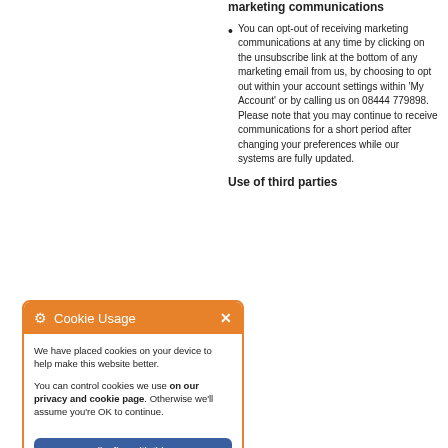marketing communications
You can opt-out of receiving marketing communications at any time by clicking on the unsubscribe link at the bottom of any marketing email from us, by choosing to opt out within your account settings within 'My Account' or by calling us on 08444 779898. Please note that you may continue to receive communications for a short period after changing your preferences while our systems are fully updated.
[Figure (screenshot): Cookie Usage popup with orange header containing gear icon, 'Cookie Usage' title, and X close button. Body text reads: 'We have placed cookies on your device to help make this website better.' and 'You can control cookies we use on our privacy and cookie page. Otherwise we'll assume you're OK to continue.' A blue 'I'm fine with this' button and 'More Information' link at bottom.]
Use of third parties